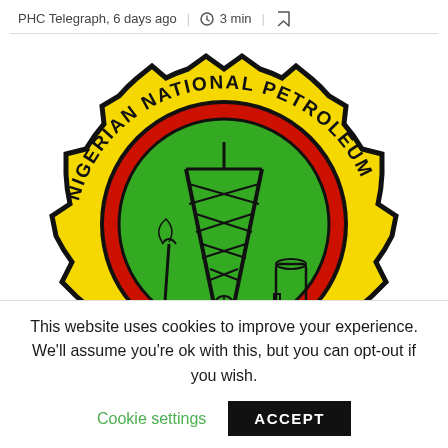PHC Telegraph, 6 days ago | 3 min |
[Figure (logo): Nigerian National Petroleum Corporation (NNPC) logo — a yellow gear/cogwheel with bold black outline, containing a red-bordered green circle. Inside the green circle is a black line-art oil derrick/drilling rig with industrial equipment. The text 'NIGERIAN NATIONAL PETROLEUM' curves along the top of the gear in black capital letters on yellow background. The logo is cropped showing approximately the upper two-thirds.]
This website uses cookies to improve your experience. We'll assume you're ok with this, but you can opt-out if you wish.
Cookie settings    ACCEPT